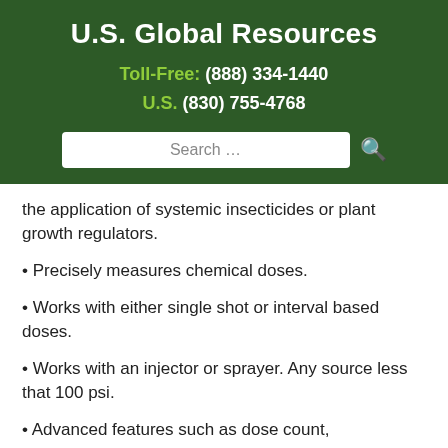U.S. Global Resources
Toll-Free: (888) 334-1440
U.S. (830) 755-4768
the application of systemic insecticides or plant growth regulators.
• Precisely measures chemical doses.
• Works with either single shot or interval based doses.
• Works with an injector or sprayer. Any source less that 100 psi.
• Advanced features such as dose count,